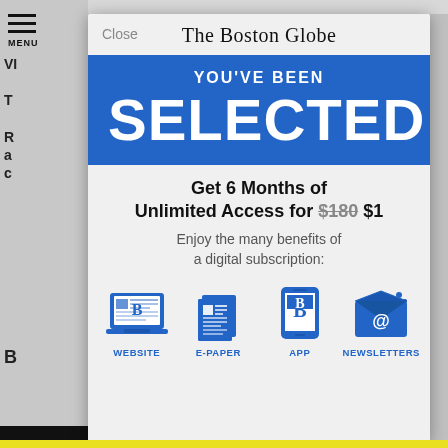[Figure (screenshot): Boston Globe subscription modal popup overlay on a news website. Shows 'The Boston Globe' logo, blue banner with 'YOU'VE BEEN SELECTED', offer for 6 months unlimited access for $1 (strikethrough $180), and four benefit icons: Website, E-Paper, App, Newsletters.]
The Boston Globe
YOU'VE BEEN SELECTED
Get 6 Months of Unlimited Access for $180 $1
Enjoy the many benefits of a digital subscription:
WEBSITE
E-PAPER
APP
NEWSLETTERS